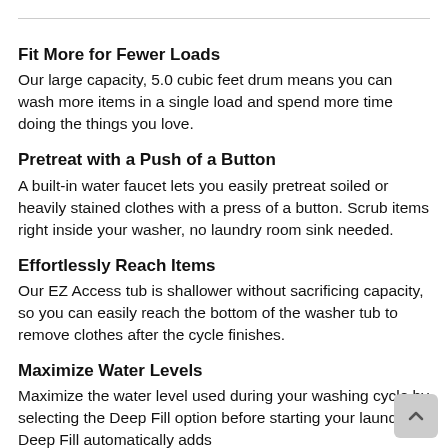Fit More for Fewer Loads
Our large capacity, 5.0 cubic feet drum means you can wash more items in a single load and spend more time doing the things you love.
Pretreat with a Push of a Button
A built-in water faucet lets you easily pretreat soiled or heavily stained clothes with a press of a button. Scrub items right inside your washer, no laundry room sink needed.
Effortlessly Reach Items
Our EZ Access tub is shallower without sacrificing capacity, so you can easily reach the bottom of the washer tub to remove clothes after the cycle finishes.
Maximize Water Levels
Maximize the water level used during your washing cycle by selecting the Deep Fill option before starting your laundry. Deep Fill automatically adds